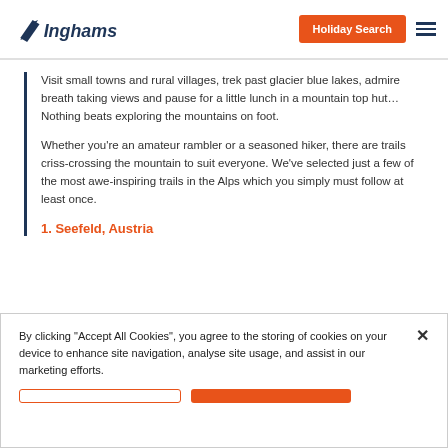Inghams — Holiday Search
Visit small towns and rural villages, trek past glacier blue lakes, admire breath taking views and pause for a little lunch in a mountain top hut… Nothing beats exploring the mountains on foot.
Whether you're an amateur rambler or a seasoned hiker, there are trails criss-crossing the mountain to suit everyone. We've selected just a few of the most awe-inspiring trails in the Alps which you simply must follow at least once.
1. Seefeld, Austria
By clicking "Accept All Cookies", you agree to the storing of cookies on your device to enhance site navigation, analyse site usage, and assist in our marketing efforts.